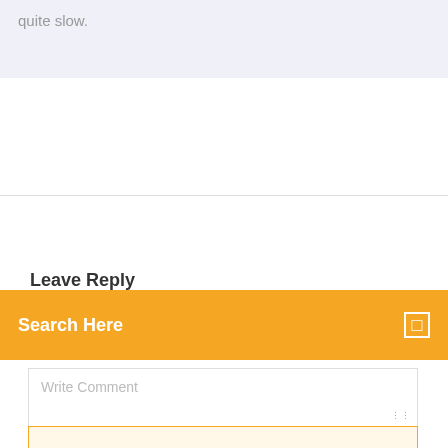quite slow.
Leave Reply
Search Here
Write Comment